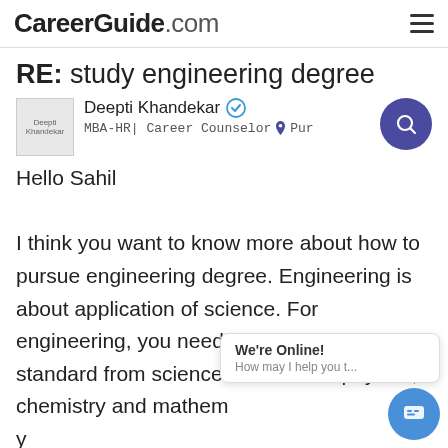CareerGuide.com
RE: study engineering degree
Deepti Khandekar | MBA-HR| Career Counselor | Pune
Hello Sahil

I think you want to know more about how to pursue engineering degree. Engineering is about application of science. For engineering, you need to complete twelfth standard from science stream with physics, chemistry and mathematics and you need to secure at least 55% marks. You need